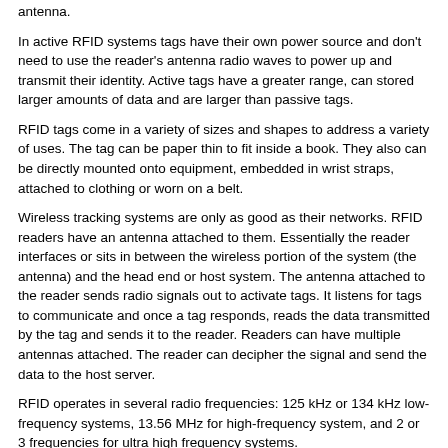antenna.
In active RFID systems tags have their own power source and don't need to use the reader's antenna radio waves to power up and transmit their identity. Active tags have a greater range, can stored larger amounts of data and are larger than passive tags.
RFID tags come in a variety of sizes and shapes to address a variety of uses. The tag can be paper thin to fit inside a book. They also can be directly mounted onto equipment, embedded in wrist straps, attached to clothing or worn on a belt.
Wireless tracking systems are only as good as their networks. RFID readers have an antenna attached to them. Essentially the reader interfaces or sits in between the wireless portion of the system (the antenna) and the head end or host system. The antenna attached to the reader sends radio signals out to activate tags. It listens for tags to communicate and once a tag responds, reads the data transmitted by the tag and sends it to the reader. Readers can have multiple antennas attached. The reader can decipher the signal and send the data to the host server.
RFID operates in several radio frequencies: 125 kHz or 134 kHz low-frequency systems, 13.56 MHz for high-frequency system, and 2 or 3 frequencies for ultra high frequency systems.
• Wi-Fi
Wi-Fi basically replaces a cabled Ethernet connection with a wireless device. Current “Wi-Fi” systems operate in two unlicensed radio frequencies, 2.4 GHz and 5 GHz. The Institute for Electrical and Electronics Engineers (IEEE) has set four standards for Ethernet